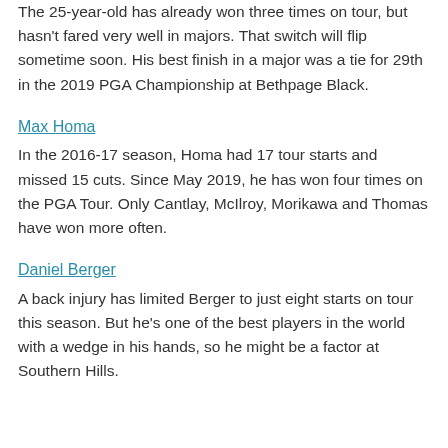The 25-year-old has already won three times on tour, but hasn't fared very well in majors. That switch will flip sometime soon. His best finish in a major was a tie for 29th in the 2019 PGA Championship at Bethpage Black.
Max Homa
In the 2016-17 season, Homa had 17 tour starts and missed 15 cuts. Since May 2019, he has won four times on the PGA Tour. Only Cantlay, McIlroy, Morikawa and Thomas have won more often.
Daniel Berger
A back injury has limited Berger to just eight starts on tour this season. But he's one of the best players in the world with a wedge in his hands, so he might be a factor at Southern Hills.